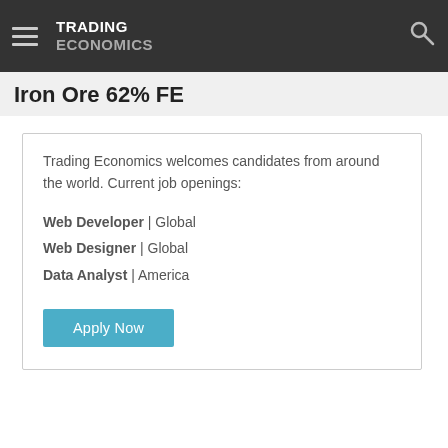TRADING ECONOMICS
Iron Ore 62% FE
Trading Economics welcomes candidates from around the world. Current job openings:
Web Developer | Global
Web Designer | Global
Data Analyst | America
Apply Now